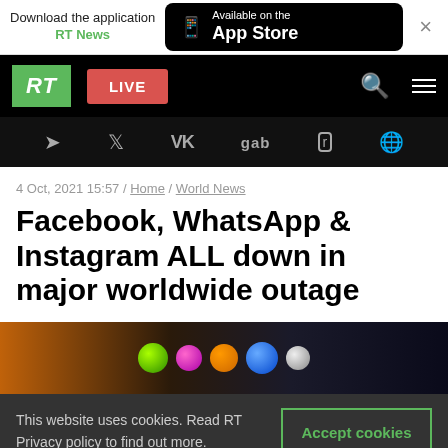[Figure (screenshot): App Store download banner with RT News branding and close button]
RT logo, LIVE button, navigation icons
[Figure (screenshot): Social media icons bar: Telegram, Twitter, VK, gab, Rumble, globe icon on black background]
4 Oct, 2021 15:57 / Home / World News
Facebook, WhatsApp & Instagram ALL down in major worldwide outage
[Figure (photo): Colorful glowing spheres on dark background, app icons illustration]
This website uses cookies. Read RT Privacy policy to find out more.